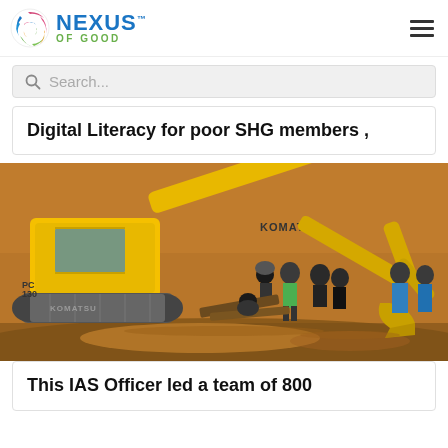NEXUS OF GOOD — navigation header with logo and hamburger menu
Search...
Digital Literacy for poor SHG members ,
[Figure (photo): A yellow Komatsu excavator working in muddy orange-brown water with a group of workers standing nearby on a construction/mining site]
This IAS Officer led a team of 800